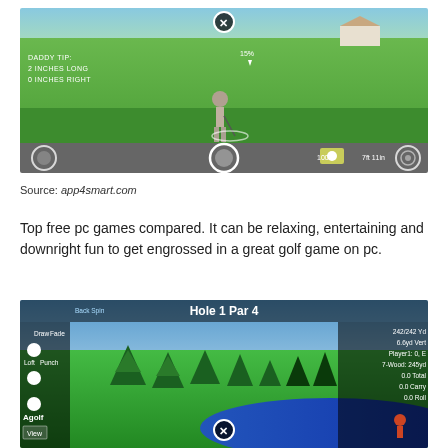[Figure (screenshot): Golf video game screenshot showing a 3D golfer about to putt on a green. HUD shows DADDY TIP: 2 INCHES LONG, 0 INCHES RIGHT. Bottom bar shows 100% and 7ft 11in distance indicator.]
Source: app4smart.com
Top free pc games compared. It can be relaxing, entertaining and downright fun to get engrossed in a great golf game on pc.
[Figure (screenshot): Animated golf game screenshot showing Hole 1 Par 4. Stats show 242/242 Yd, 6.6yd Vert, Player1: 0, E, 7-Wood: 245yd, 0.0 Total, 0.0 Carry, 0.0 Roll. Left HUD shows Back Spin, Draw, Fade, Loft, Punch sliders. Trees and water hazard visible.]